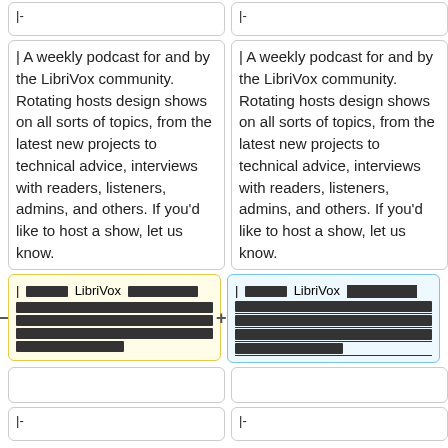|-
|-
| A weekly podcast for and by the LibriVox community. Rotating hosts design shows on all sorts of topics, from the latest new projects to technical advice, interviews with readers, listeners, admins, and others. If you'd like to host a show, let us know.
| A weekly podcast for and by the LibriVox community. Rotating hosts design shows on all sorts of topics, from the latest new projects to technical advice, interviews with readers, listeners, admins, and others. If you'd like to host a show, let us know.
| [redacted] LibriVox [redacted] [redacted lines] [redacted]
| [redacted] LibriVox [redacted underlined] [redacted underlined lines] [redacted underlined]
|-
|-
Line 443:
Line 443: